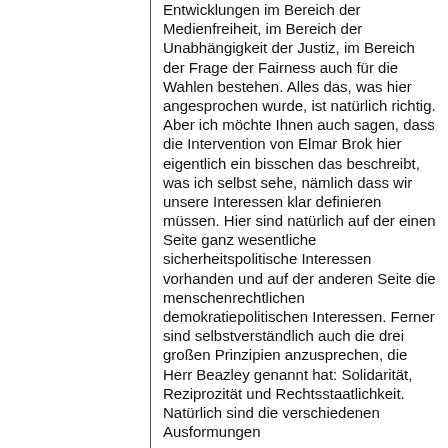Entwicklungen im Bereich der Medienfreiheit, im Bereich der Unabhängigkeit der Justiz, im Bereich der Frage der Fairness auch für die Wahlen bestehen. Alles das, was hier angesprochen wurde, ist natürlich richtig. Aber ich möchte Ihnen auch sagen, dass die Intervention von Elmar Brok hier eigentlich ein bisschen das beschreibt, was ich selbst sehe, nämlich dass wir unsere Interessen klar definieren müssen. Hier sind natürlich auf der einen Seite ganz wesentliche sicherheitspolitische Interessen vorhanden und auf der anderen Seite die menschenrechtlichen demokratiepolitischen Interessen. Ferner sind selbstverständlich auch die drei großen Prinzipien anzusprechen, die Herr Beazley genannt hat: Solidarität, Reziprozität und Rechtsstaatlichkeit. Natürlich sind die verschiedenen Ausformungen